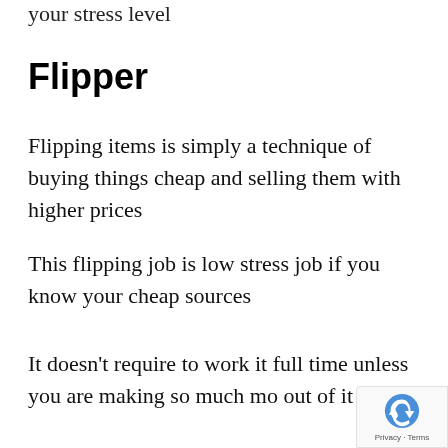your stress level
Flipper
Flipping items is simply a technique of buying things cheap and selling them with higher prices
This flipping job is low stress job if you know your cheap sources
It doesn't require to work it full time unless you are making so much mo out of it